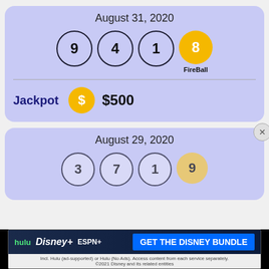August 31, 2020
[Figure (infographic): Lottery draw result for August 31, 2020: balls 9, 4, 1 and FireBall 8 (gold)]
Jackpot $500
August 29, 2020
[Figure (infographic): Partial lottery draw result for August 29, 2020: balls 3, 7, 1 and FireBall 9 (partially visible)]
[Figure (screenshot): Disney Bundle advertisement banner: Hulu, Disney+, ESPN+ - GET THE DISNEY BUNDLE]